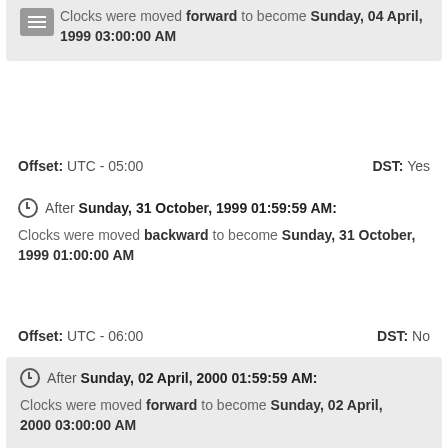Clocks were moved forward to become Sunday, 04 April, 1999 03:00:00 AM
Offset: UTC - 05:00   DST: Yes
After Sunday, 31 October, 1999 01:59:59 AM:
Clocks were moved backward to become Sunday, 31 October, 1999 01:00:00 AM
Offset: UTC - 06:00   DST: No
After Sunday, 02 April, 2000 01:59:59 AM:
Clocks were moved forward to become Sunday, 02 April, 2000 03:00:00 AM